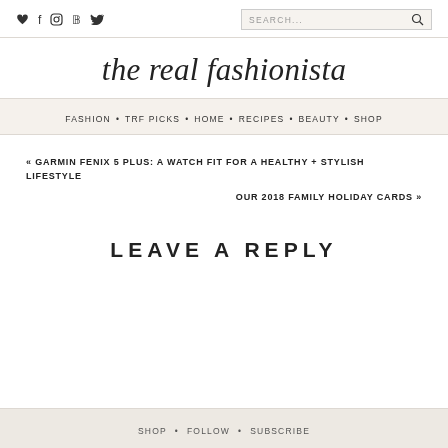♥ f ○ P t   SEARCH...
the real fashionista
FASHION • TRF PICKS • HOME • RECIPES • BEAUTY • SHOP
« GARMIN FENIX 5 PLUS: A WATCH FIT FOR A HEALTHY + STYLISH LIFESTYLE
OUR 2018 FAMILY HOLIDAY CARDS »
LEAVE A REPLY
SHOP * FOLLOW * SUBSCRIBE